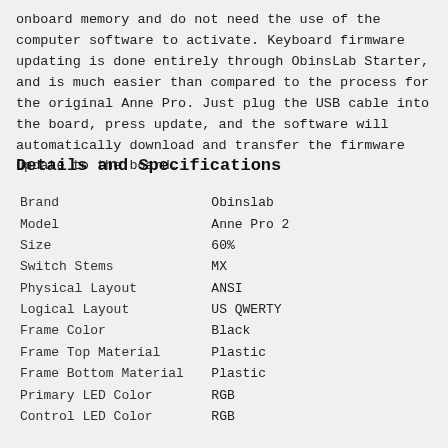onboard memory and do not need the use of the computer software to activate. Keyboard firmware updating is done entirely through ObinsLab Starter, and is much easier than compared to the process for the original Anne Pro. Just plug the USB cable into the board, press update, and the software will automatically download and transfer the firmware update to the board.
Details and Specifications
| Brand | Obinslab |
| Model | Anne Pro 2 |
| Size | 60% |
| Switch Stems | MX |
| Physical Layout | ANSI |
| Logical Layout | US QWERTY |
| Frame Color | Black |
| Frame Top Material | Plastic |
| Frame Bottom Material | Plastic |
| Primary LED Color | RGB |
| Control LED Color | RGB |